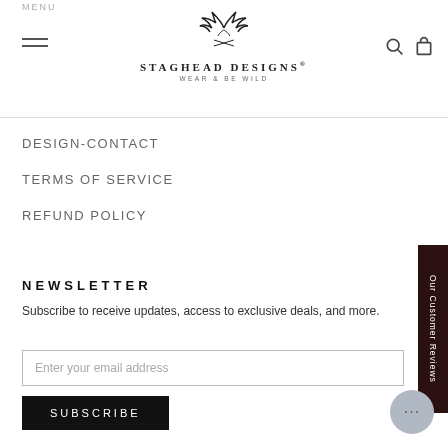Staghead Designs — Wear & Be Wild
DESIGN-CONTACT
TERMS OF SERVICE
REFUND POLICY
NEWSLETTER
Subscribe to receive updates, access to exclusive deals, and more.
[Figure (screenshot): Email subscription input field with placeholder 'Enter your email address']
[Figure (screenshot): Subscribe button — black background, white text, letter-spaced]
[Figure (other): Chat widget bubble — circular gray button with ellipsis]
Our Customer Reviews